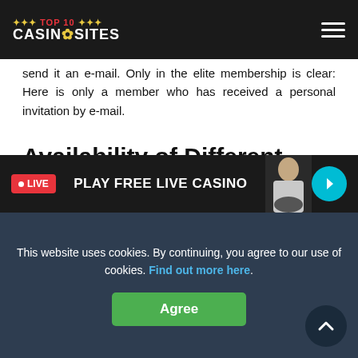TOP 10 CASINO SITES
send it an e-mail. Only in the elite membership is clear: Here is only a member who has received a personal invitation by e-mail.
Availability of Different Games
Now let's look at the most important thing about an online casino – the range of games. The Royal Spinz works together with several well-known providers of casino games. This means Betsoft can be found among the many Play'n Go
[Figure (other): Live casino banner: LIVE badge, PLAY FREE LIVE CASINO text, dealer image, teal arrow button]
This website uses cookies. By continuing, you agree to our use of cookies. Find out more here.
Agree